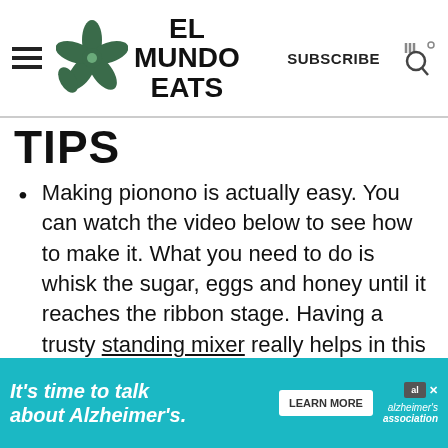EL MUNDO EATS — SUBSCRIBE
TIPS
Making pionono is actually easy. You can watch the video below to see how to make it. What you need to do is whisk the sugar, eggs and honey until it reaches the ribbon stage. Having a trusty standing mixer really helps in this process as it takes quite a while.
Also make sure your eggs are at room temperature. They whisk better...
[Figure (infographic): Alzheimer's advertisement banner: 'It's time to talk about Alzheimer's.' with Learn More button and Alzheimer's Association logo]